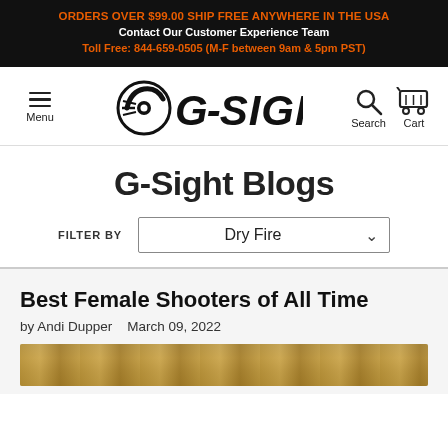ORDERS OVER $99.00 SHIP FREE ANYWHERE IN THE USA
Contact Our Customer Experience Team
Toll Free: 844-659-0505 (M-F between 9am & 5pm PST)
[Figure (logo): G-Sight logo with circular swoosh graphic and bold italic SIGHT text]
G-Sight Blogs
FILTER BY  Dry Fire
Best Female Shooters of All Time
by Andi Dupper   March 09, 2022
[Figure (photo): Partial view of an outdoor photo at the bottom of the page]